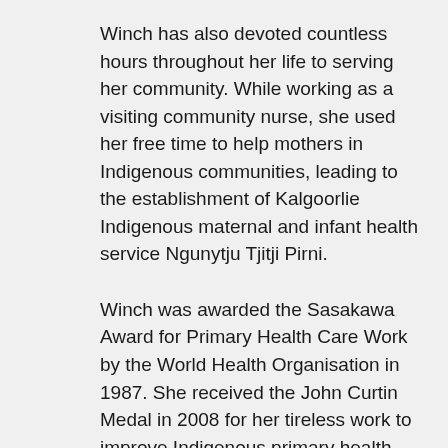Winch has also devoted countless hours throughout her life to serving her community. While working as a visiting community nurse, she used her free time to help mothers in Indigenous communities, leading to the establishment of Kalgoorlie Indigenous maternal and infant health service Ngunytju Tjitji Pirni.
Winch was awarded the Sasakawa Award for Primary Health Care Work by the World Health Organisation in 1987. She received the John Curtin Medal in 2008 for her tireless work to improve Indigenous primary health care in Western Australia.
Read more about Joan Winch.